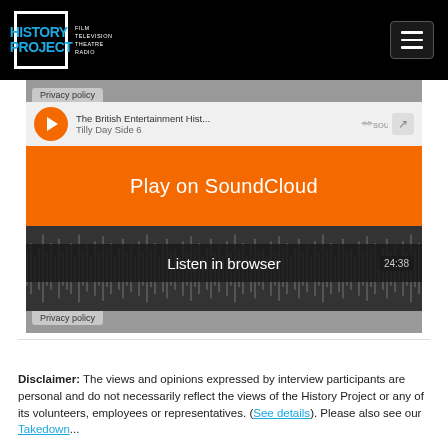History Project | Film Television Theatre Radio
[Figure (screenshot): SoundCloud embedded audio player showing 'The British Entertainment Hist... Tilly Day Side 6' with Play on SoundCloud overlay and Listen in browser button, duration 24:38]
Disclaimer: The views and opinions expressed by interview participants are personal and do not necessarily reflect the views of the History Project or any of its volunteers, employees or representatives. (See details). Please also see our Takedown...